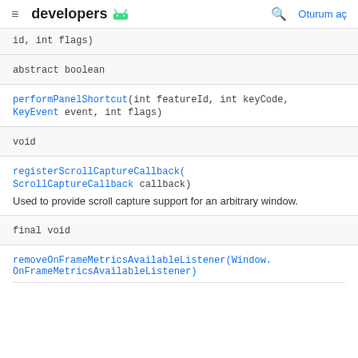developers
id, int flags)
abstract boolean
performPanelShortcut(int featureId, int keyCode, KeyEvent event, int flags)
void
registerScrollCaptureCallback(ScrollCaptureCallback callback)
Used to provide scroll capture support for an arbitrary window.
final void
removeOnFrameMetricsAvailableListener(Window.OnFrameMetricsAvailableListener)